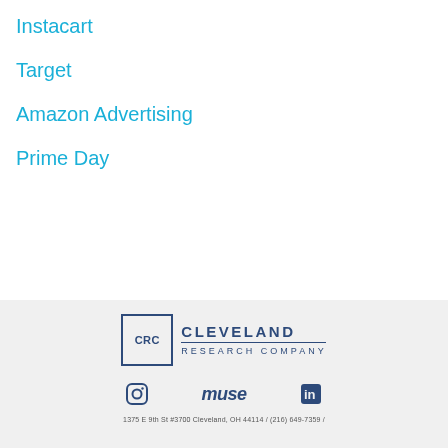Instacart
Target
Amazon Advertising
Prime Day
[Figure (logo): Cleveland Research Company (CRC) logo with box containing CRC text, and company name with horizontal rules]
[Figure (other): Social media icons: Instagram circle icon, Muse text logo, LinkedIn 'in' icon]
1375 E 9th St #3700 Cleveland, OH 44114 / (216) 649-7359 /